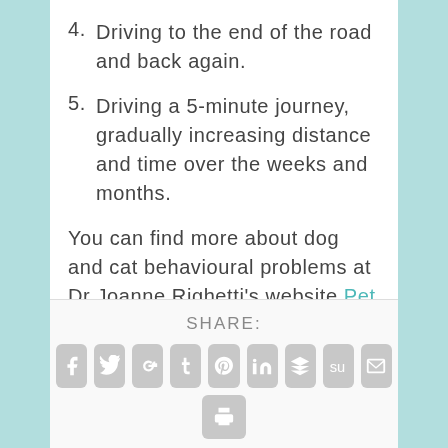4. Driving to the end of the road and back again.
5. Driving a 5-minute journey, gradually increasing distance and time over the weeks and months.
You can find more about dog and cat behavioural problems at Dr Joanne Righetti’s website Pet Problem Solved.
Print This Post
SHARE: